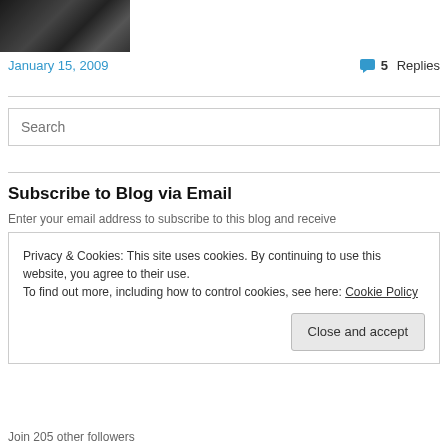[Figure (photo): Dark/black photo of what appears to be a building or machine exterior]
January 15, 2009
5 Replies
Search
Subscribe to Blog via Email
Enter your email address to subscribe to this blog and receive
Privacy & Cookies: This site uses cookies. By continuing to use this website, you agree to their use.
To find out more, including how to control cookies, see here: Cookie Policy
Close and accept
Join 205 other followers